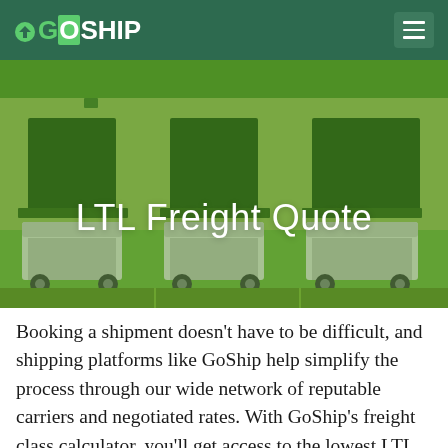[Figure (logo): GoShip logo with navigation bar on dark green background and hamburger menu icon on the right]
[Figure (photo): Hero image showing trucks backed up to a loading dock, overlaid with a green tint]
LTL Freight Quote
Booking a shipment doesn’t have to be difficult, and shipping platforms like GoShip help simplify the process through our wide network of reputable carriers and negotiated rates. With GoShip’s freight class calculator, you’ll get access to the lowest LTL quote in no time!